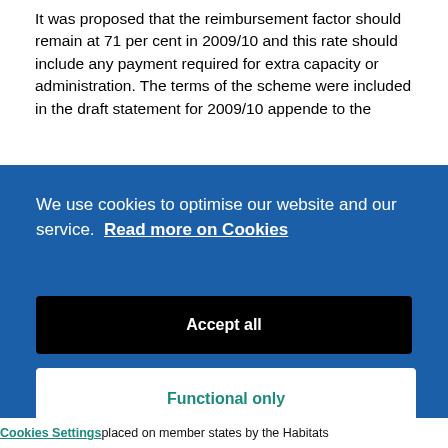It was proposed that the reimbursement factor should remain at 71 per cent in 2009/10 and this rate should include any payment required for extra capacity or administration. The terms of the scheme were included in the draft statement for 2009/10 appende to the
We use cookies to optimise our website and our service. Read more on Cookies
Accept all
Functional only
Cookies preferences
Cookies Settings placed on member states by the Habitats